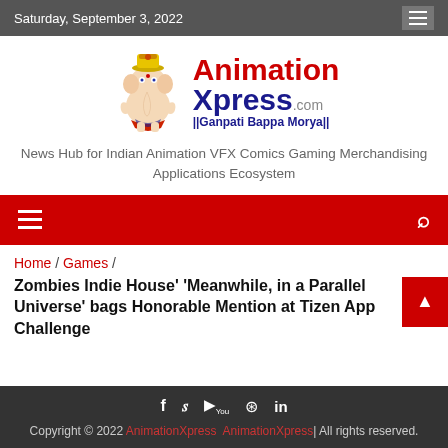Saturday, September 3, 2022
[Figure (logo): AnimationXpress.com logo with Ganesh elephant mascot and text 'Animation Xpress.com ||Ganpati Bappa Morya||']
News Hub for Indian Animation VFX Comics Gaming Merchandising Applications Ecosystem
Home / Games / Zombies Indie House' 'Meanwhile, in a Parallel Universe' bags Honorable Mention at Tizen App Challenge
Copyright © 2022 AnimationXpress  AnimationXpress| All rights reserved.